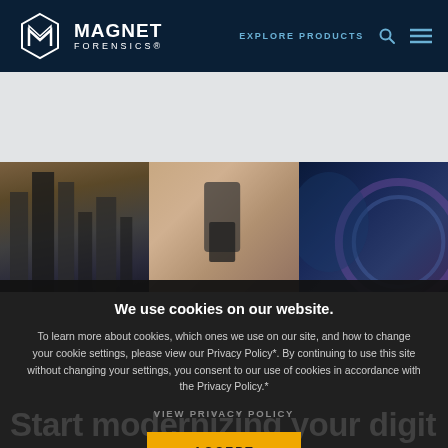MAGNET FORENSICS — EXPLORE PRODUCTS
[Figure (photo): Three-panel photo strip: city skyline with tall buildings, person holding a smartphone wearing white shirt, close-up of a screen or disc with blue/purple lighting]
We use cookies on our website.
To learn more about cookies, which ones we use on our site, and how to change your cookie settings, please view our Privacy Policy*. By continuing to use this site without changing your settings, you consent to our use of cookies in accordance with the Privacy Policy.*
VIEW PRIVACY POLICY
ACCEPT
Start modernizing your digit